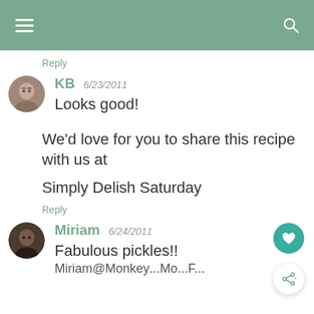Navigation bar with hamburger menu and search icon
Reply
KB 6/23/2011
Looks good!
We'd love for you to share this recipe with us at

Simply Delish Saturday
Reply
Miriam 6/24/2011
Fabulous pickles!!
Miriam@Monkey...